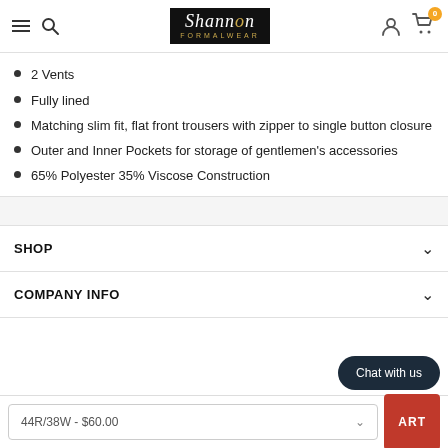Shannon Formalwear — navigation header with menu, search, logo, user icon, cart (0)
2 Vents
Fully lined
Matching slim fit, flat front trousers with zipper to single button closure
Outer and Inner Pockets for storage of gentlemen's accessories
65% Polyester 35% Viscose Construction
SHOP
COMPANY INFO
44R/38W - $60.00
Chat with us